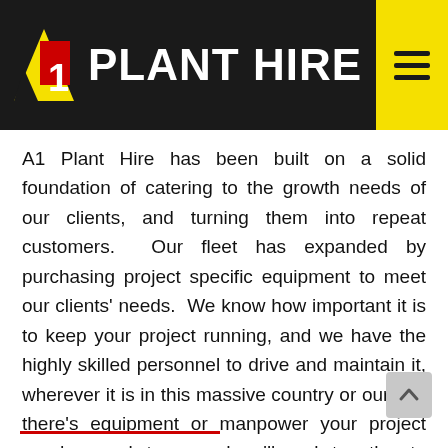A1 PLANT HIRE
A1 Plant Hire has been built on a solid foundation of catering to the growth needs of our clients, and turning them into repeat customers.  Our fleet has expanded by purchasing project specific equipment to meet our clients' needs.  We know how important it is to keep your project running, and we have the highly skilled personnel to drive and maintain it, wherever it is in this massive country or ours.  If there's equipment or manpower your project needs, speak to us and we'll work together to make it happen.